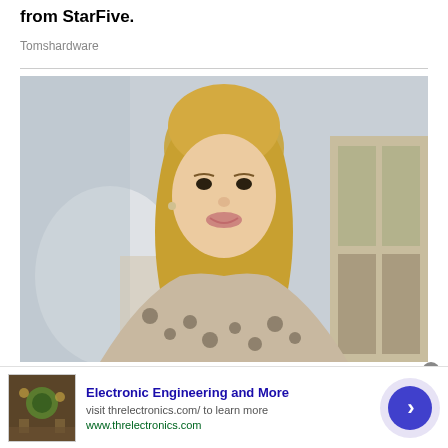…from StarFive.
Tomshardware
[Figure (photo): Portrait photo of a young blonde woman wearing a leopard-print top, looking at the camera, indoor background with mirror and cabinet]
The Little-Known Way to Find Your Soulmate You Won't Believe!
Electronic Engineering and More
visit threlectronics.com/ to learn more
www.threlectronics.com